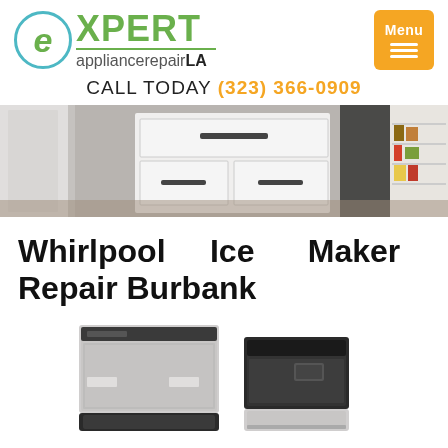[Figure (logo): Expert Appliance Repair LA logo with green 'e' in teal circle, green XPERT text, and menu button]
CALL TODAY (323) 366-0909
[Figure (photo): Kitchen appliances banner showing refrigerators and kitchen drawers]
Whirlpool Ice Maker Repair Burbank
[Figure (photo): Two commercial ice maker machines side by side]